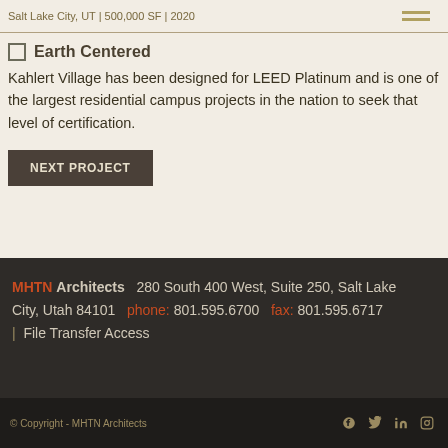Salt Lake City, UT | 500,000 SF | 2020
Earth Centered
Kahlert Village has been designed for LEED Platinum and is one of the largest residential campus projects in the nation to seek that level of certification.
NEXT PROJECT
MHTN Architects  280 South 400 West, Suite 250, Salt Lake City, Utah 84101  phone: 801.595.6700  fax: 801.595.6717  |  File Transfer Access
© Copyright - MHTN Architects